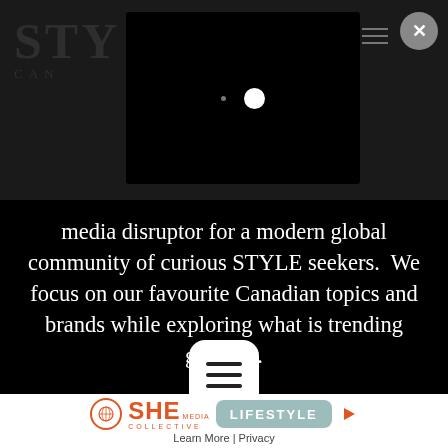[Figure (screenshot): Dark background with partially visible STYLE CANADA logo on the left, a black video player overlay with navigation dots in the center, hamburger menu icon, and a circular close (X) button on the top right.]
media disruptor for a modern global community of curious STYLE seekers.  We focus on our favourite Canadian topics and brands while exploring what is trending globally.
[Figure (other): White rounded square menu/hamburger button icon with three horizontal lines]
[Figure (logo): SHE Media Collective Lifestyle badge advertisement with Learn More and Privacy links]